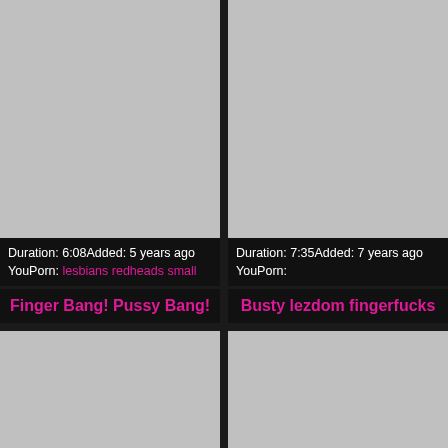[Figure (photo): Gray placeholder thumbnail, top left]
Duration: 6:08Added: 5 years ago
YouPorn: lesbians redheads small
Finger Bang! Pussy Bang!
[Figure (photo): Gray placeholder thumbnail, top right]
Duration: 7:35Added: 7 years ago
YouPorn:
Busty lezdom fingerfucks
[Figure (photo): Gray placeholder thumbnail, bottom left]
[Figure (photo): Gray placeholder thumbnail, bottom right]